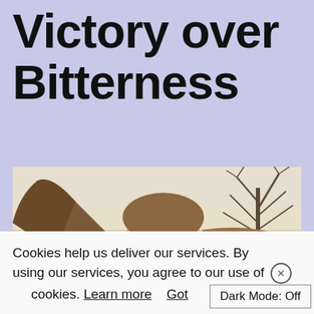Victory over Bitterness
[Figure (photo): A woman with long flowing hair, eyes closed, smiling peacefully outdoors with bare winter trees in the background.]
Cookies help us deliver our services. By using our services, you agree to our use of cookies. Learn more   Got
Dark Mode: Off